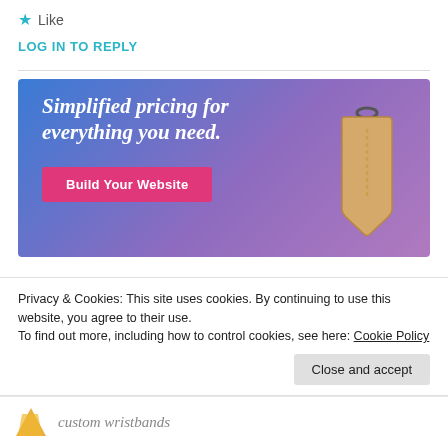★ Like
LOG IN TO REPLY
[Figure (screenshot): Advertisement banner with gradient blue-purple background showing 'Simplified pricing for everything you need.' text with a 'Build Your Website' pink button and a price tag image on the right]
Privacy & Cookies: This site uses cookies. By continuing to use this website, you agree to their use.
To find out more, including how to control cookies, see here: Cookie Policy
Close and accept
custom wristbands